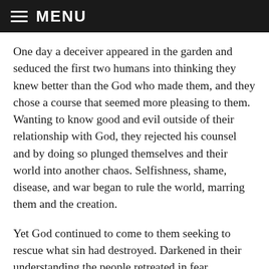MENU
One day a deceiver appeared in the garden and seduced the first two humans into thinking they knew better than the God who made them, and they chose a course that seemed more pleasing to them. Wanting to know good and evil outside of their relationship with God, they rejected his counsel and by doing so plunged themselves and their world into another chaos. Selfishness, shame, disease, and war began to rule the world, marring them and the creation.
Yet God continued to come to them seeking to rescue what sin had destroyed. Darkened in their understanding the people retreated in fear whenever God approached them and misunderstood his attempts to rescue them as the brutal punishment of an offended deity. They could no longer see who He was,